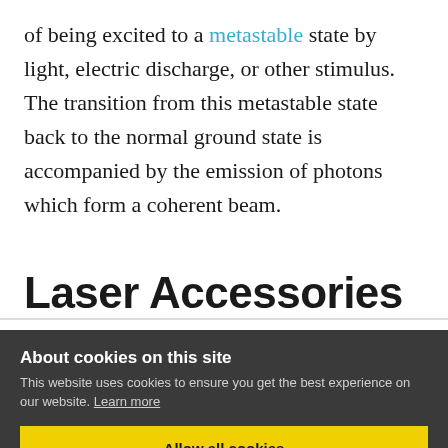of being excited to a metastable state by light, electric discharge, or other stimulus. The transition from this metastable state back to the normal ground state is accompanied by the emission of photons which form a coherent beam.
Laser Accessories
About cookies on this site
This website uses cookies to ensure you get the best experience on our website. Learn more
Allow all cookies
Cookie settings